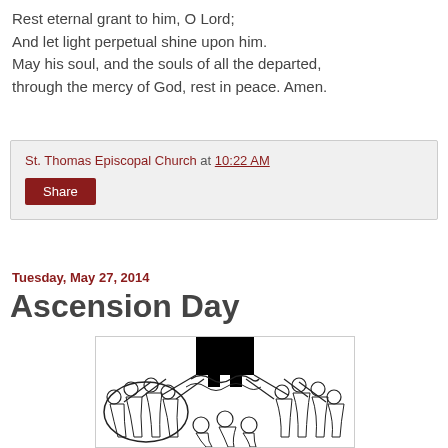Rest eternal grant to him, O Lord;
And let light perpetual shine upon him.
May his soul, and the souls of all the departed,
through the mercy of God, rest in peace. Amen.
St. Thomas Episcopal Church at 10:22 AM
Share
Tuesday, May 27, 2014
Ascension Day
[Figure (illustration): Black and white illustration of figures looking upward in a circle, Ascension Day religious artwork]